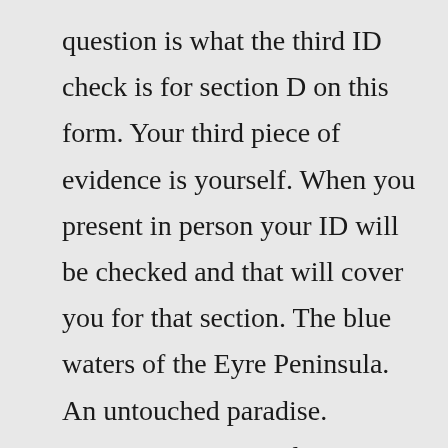question is what the third ID check is for section D on this form. Your third piece of evidence is yourself. When you present in person your ID will be checked and that will cover you for that section. The blue waters of the Eyre Peninsula. An untouched paradise. Documents Required1. Misleading or deceptive advertising. "A person must not advertise a regulated health service, or a business that provides a regulated health